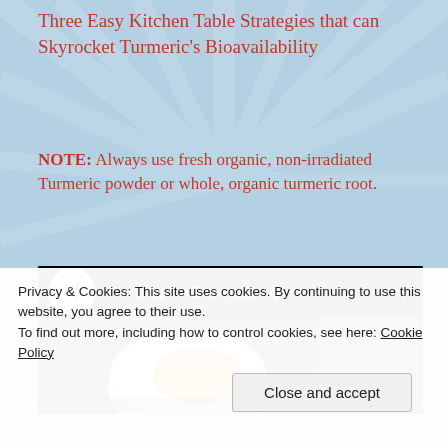Three Easy Kitchen Table Strategies that can Skyrocket Turmeric’s Bioavailability
NOTE: Always use fresh organic, non-irradiated Turmeric powder or whole, organic turmeric root.
[Figure (screenshot): YouTube video thumbnail for 'Boosting the Bioavailability of ...' with a channel logo (green N on white circle) and an image of turmeric powder in a mortar]
Privacy & Cookies: This site uses cookies. By continuing to use this website, you agree to their use.
To find out more, including how to control cookies, see here: Cookie Policy
Close and accept